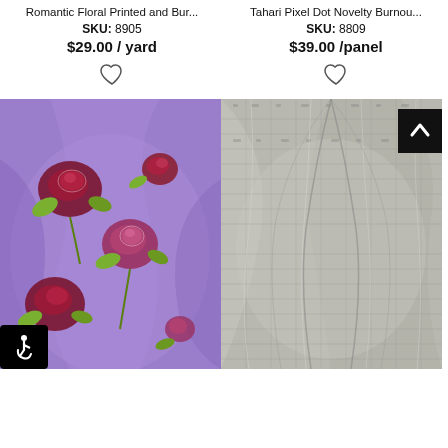Romantic Floral Printed and Bur...
SKU: 8905
$29.00 / yard
[Figure (illustration): Heart/wishlist icon (outline) for left product]
Tahari Pixel Dot Novelty Burnou...
SKU: 8809
$39.00 /panel
[Figure (illustration): Heart/wishlist icon (outline) for right product]
[Figure (photo): Purple/lavender fabric with large dark red and pink floral print (roses and leaves), draped and folded. Accessibility wheelchair icon badge in bottom-left corner.]
[Figure (photo): Gray textured fabric with subtle woven pixel-dot pattern, draped and folded. Scroll-to-top arrow button badge in top-right corner.]